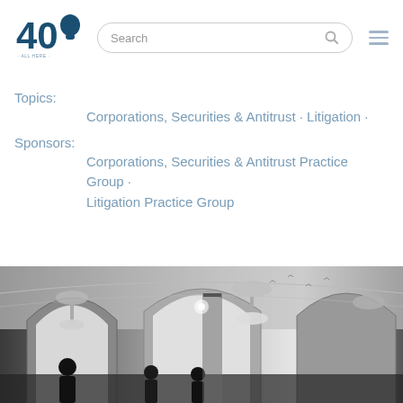[Figure (logo): 40 anniversary logo with silhouette]
Topics:
Corporations, Securities & Antitrust · Litigation ·
Sponsors:
Corporations, Securities & Antitrust Practice Group · Litigation Practice Group
[Figure (photo): Black and white photo of an ornate hall with arched ceilings, chandeliers, and people in the foreground]